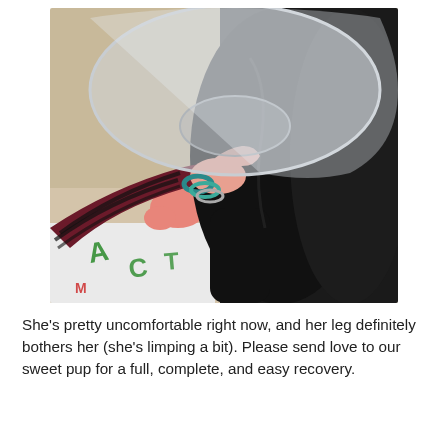[Figure (photo): A person wearing a striped maroon and black long-sleeve shirt and teal beaded bracelets holds or comforts a large black dog that is wearing a clear plastic e-collar (cone of shame). The dog is lying on a carpet. A pink sock is visible on the person's foot, and a white Christmas-themed fabric or blanket with red and green text is on the floor.]
She's pretty uncomfortable right now, and her leg definitely bothers her (she's limping a bit). Please send love to our sweet pup for a full, complete, and easy recovery.